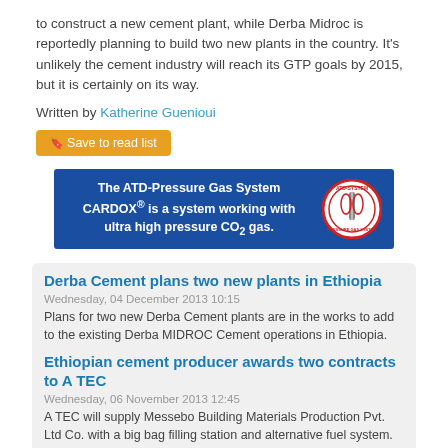to construct a new cement plant, while Derba Midroc is reportedly planning to build two new plants in the country. It's unlikely the cement industry will reach its GTP goals by 2015, but it is certainly on its way.
Written by Katherine Guenioui
Save to read list
[Figure (infographic): Blue advertisement banner for ATD-Pressure Gas System CARDOX. Text reads: 'The ATD-Pressure Gas System CARDOX® is a system working with ultra high pressure CO2 gas.' Logo on right side.]
Derba Cement plans two new plants in Ethiopia
Wednesday, 04 December 2013 10:15
Plans for two new Derba Cement plants are in the works to add to the existing Derba MIDROC Cement operations in Ethiopia.
Ethiopian cement producer awards two contracts to A TEC
Wednesday, 06 November 2013 12:45
A TEC will supply Messebo Building Materials Production Pvt. Ltd Co. with a big bag filling station and alternative fuel system.
Dangote Cement scores big increases in profits